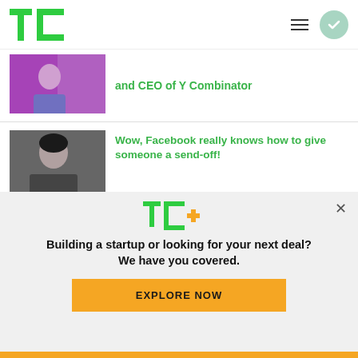TechCrunch logo, hamburger menu, check circle
and CEO of Y Combinator
Wow, Facebook really knows how to give someone a send-off!
4 principles for building an MVP even if you can't write a single line of code
[Figure (screenshot): TechCrunch TC+ promotional banner with tagline 'Building a startup or looking for your next deal? We have you covered.' and EXPLORE NOW button]
Building a startup or looking for your next deal? We have you covered.
EXPLORE NOW